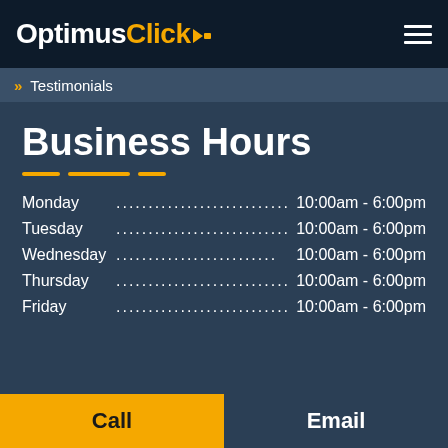OptimusClick
» Testimonials
Business Hours
Monday ................................. 10:00am - 6:00pm
Tuesday ................................ 10:00am - 6:00pm
Wednesday ........................... 10:00am - 6:00pm
Thursday ................................ 10:00am - 6:00pm
Friday .................................... 10:00am - 6:00pm
Call
Email